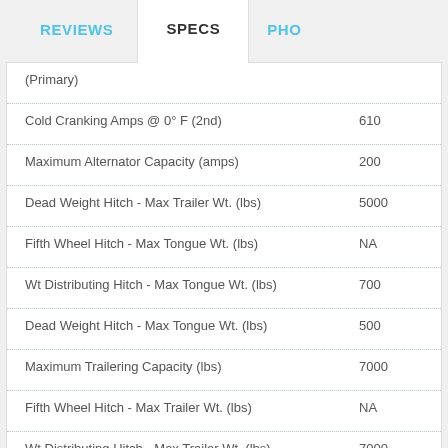REVIEWS | SPECS | PHO
| Specification | Value |
| --- | --- |
| (Primary) |  |
| Cold Cranking Amps @ 0° F (2nd) | 610 |
| Maximum Alternator Capacity (amps) | 200 |
| Dead Weight Hitch - Max Trailer Wt. (lbs) | 5000 |
| Fifth Wheel Hitch - Max Tongue Wt. (lbs) | NA |
| Wt Distributing Hitch - Max Tongue Wt. (lbs) | 700 |
| Dead Weight Hitch - Max Tongue Wt. (lbs) | 500 |
| Maximum Trailering Capacity (lbs) | 7000 |
| Fifth Wheel Hitch - Max Trailer Wt. (lbs) | NA |
| Wt Distributing Hitch - Max Trailer Wt. (lbs) | 7000 |